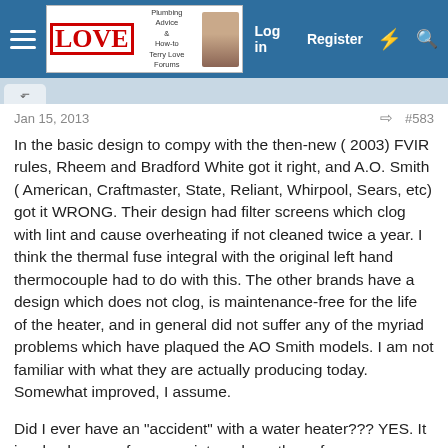Terry Love Forums — Log in Register
Jan 15, 2013   #583
In the basic design to compy with the then-new ( 2003) FVIR rules, Rheem and Bradford White got it right, and A.O. Smith ( American, Craftmaster, State, Reliant, Whirpool, Sears, etc) got it WRONG. Their design had filter screens which clog with lint and cause overheating if not cleaned twice a year. I think the thermal fuse integral with the original left hand thermocouple had to do with this. The other brands have a design which does not clog, is maintenance-free for the life of the heater, and in general did not suffer any of the myriad problems which have plaqued the AO Smith models. I am not familiar with what they are actually producing today. Somewhat improved, I assume.
Did I ever have an "accident" with a water heater??? YES. It involved a can of spray paint, and yes those fumes can ignite!!!! Fortunately, no injury and no serious damage, but it could have been worse! You do develop a healthy respect!